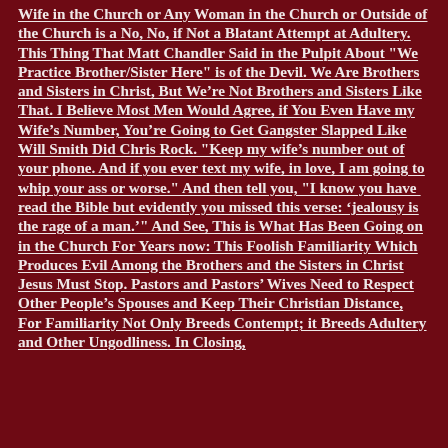Wife in the Church or Any Woman in the Church or Outside of the Church is a No, No, if Not a Blatant Attempt at Adultery. This Thing That Matt Chandler Said in the Pulpit About "We Practice Brother/Sister Here" is of the Devil. We Are Brothers and Sisters in Christ, But We're Not Brothers and Sisters Like That. I Believe Most Men Would Agree, if You Even Have my Wife's Number, You're Going to Get Gangster Slapped Like Will Smith Did Chris Rock. "Keep my wife's number out of your phone. And if you ever text my wife, in love, I am going to whip your ass or worse." And then tell you, "I know you have read the Bible but evidently you missed this verse: 'jealousy is the rage of a man.'" And See, This is What Has Been Going on in the Church For Years now: This Foolish Familiarity Which Produces Evil Among the Brothers and the Sisters in Christ Jesus Must Stop. Pastors and Pastors' Wives Need to Respect Other People's Spouses and Keep Their Christian Distance, For Familiarity Not Only Breeds Contempt; it Breeds Adultery and Other Ungodliness. In Closing,